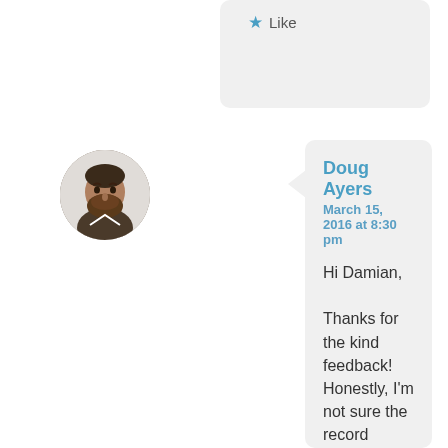[Figure (other): Star/Like button icon with teal star and 'Like' text]
[Figure (photo): Circular avatar photo of a man with a beard]
Doug Ayers
March 15, 2016 at 8:30 pm

Hi Damian,

Thanks for the kind feedback! Honestly, I'm not sure the record limitation. The code does insert campaign members in batches of 200. The max DML limit is 150 operations I think. So 150 * 200 = 30,000. If that's right then your report could have lots of contacts and still be